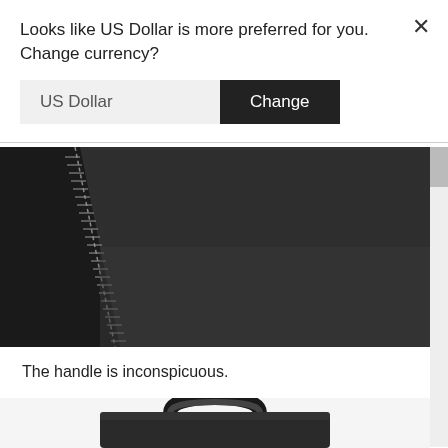Looks like US Dollar is more preferred for you. Change currency?
[Figure (screenshot): Currency change dialog with US Dollar input field and black Change button, with X close button in top right]
[Figure (photo): Close-up photo of black fabric bag with zipper detail visible in top-left corner]
The handle is inconspicuous.
[Figure (photo): Close-up photo of black bag showing handle at top]